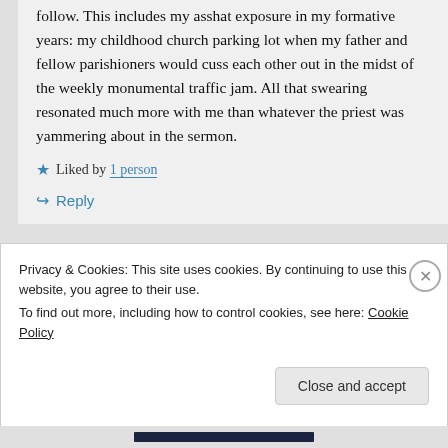follow. This includes my asshat exposure in my formative years: my childhood church parking lot when my father and fellow parishioners would cuss each other out in the midst of the weekly monumental traffic jam. All that swearing resonated much more with me than whatever the priest was yammering about in the sermon.
★ Liked by 1 person
↪ Reply
Privacy & Cookies: This site uses cookies. By continuing to use this website, you agree to their use.
To find out more, including how to control cookies, see here: Cookie Policy
Close and accept